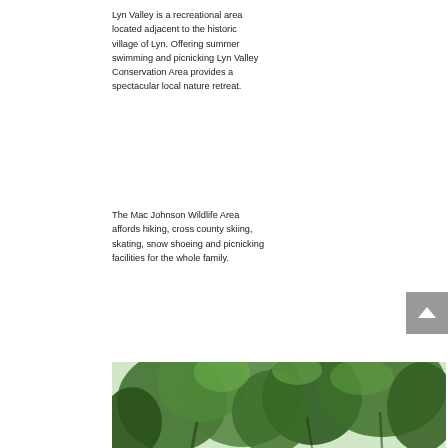Lyn Valley is a recreational area located adjacent to the historic village of Lyn. Offering summer swimming and picnicking Lyn Valley Conservation Area provides a spectacular local nature retreat.
The Mac Johnson Wildlife Area affords hiking, cross county skiing, skating, snow shoeing and picnicking facilities for the whole family.
[Figure (photo): Photo of tree canopy with green leaves against a light sky, partially visible at the bottom of the page.]